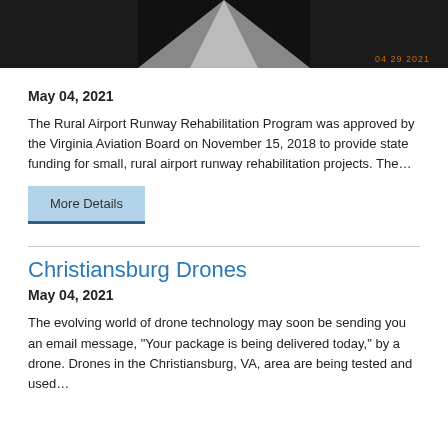[Figure (photo): Aerial or ground-level photo of a runway at night or dusk, dark background with a light-colored triangular runway shape visible. Orange timestamp '04 29 2021' in bottom right corner.]
May 04, 2021
The Rural Airport Runway Rehabilitation Program was approved by the Virginia Aviation Board on November 15, 2018 to provide state funding for small, rural airport runway rehabilitation projects. The…
More Details
Christiansburg Drones
May 04, 2021
The evolving world of drone technology may soon be sending you an email message, "Your package is being delivered today," by a drone. Drones in the Christiansburg, VA, area are being tested and used…